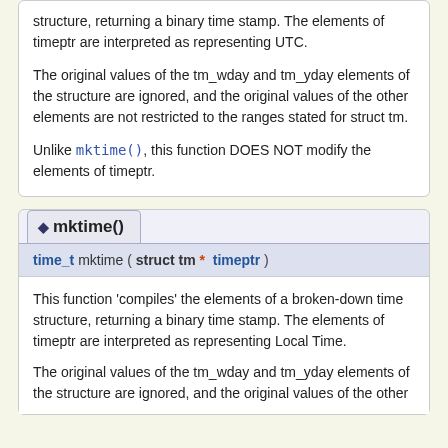structure, returning a binary time stamp. The elements of timeptr are interpreted as representing UTC.
The original values of the tm_wday and tm_yday elements of the structure are ignored, and the original values of the other elements are not restricted to the ranges stated for struct tm.
Unlike mktime(), this function DOES NOT modify the elements of timeptr.
◆ mktime()
time_t mktime ( struct tm *  timeptr )
This function 'compiles' the elements of a broken-down time structure, returning a binary time stamp. The elements of timeptr are interpreted as representing Local Time.
The original values of the tm_wday and tm_yday elements of the structure are ignored, and the original values of the other